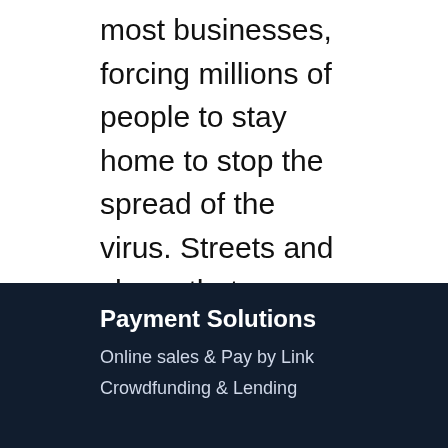most businesses, forcing millions of people to stay home to stop the spread of the virus. Streets and shops that were once crowded are now deserted as governments struggle to contain the spread. This has caused consumers…
« Older Entries
Payment Solutions
Online sales & Pay by Link
Crowdfunding & Lending